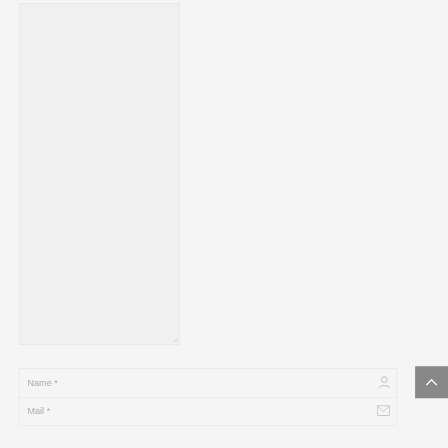[Figure (screenshot): Large empty textarea input box with light gray background and a resize handle in the bottom-right corner]
Name *
Mail *